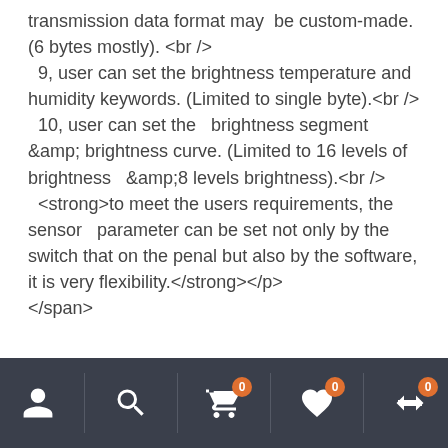transmission data format may be custom-made. (6 bytes mostly). <br />
  9, user can set the brightness temperature and humidity keywords. (Limited to single byte).<br />
  10, user can set the   brightness segment &amp; brightness curve. (Limited to 16 levels of brightness   &amp;8 levels brightness).<br />
  <strong>to meet the users requirements, the sensor   parameter can be set not only by the switch that on the penal but also by the software, it is very flexibility.</strong></p>
</span>
Navigation bar with user, search, cart (0), wishlist (0), and compare (0) icons